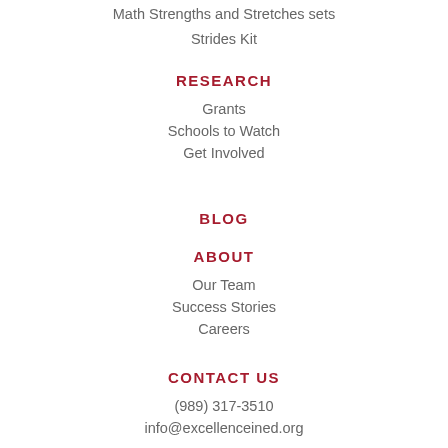Math Strengths and Stretches sets
Strides Kit
RESEARCH
Grants
Schools to Watch
Get Involved
BLOG
ABOUT
Our Team
Success Stories
Careers
CONTACT US
(989) 317-3510
info@excellenceined.org